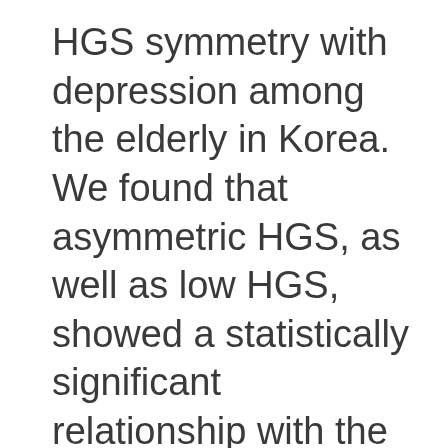HGS symmetry with depression among the elderly in Korea. We found that asymmetric HGS, as well as low HGS, showed a statistically significant relationship with the prevalence of depression among elderly Korean women after adjusting for socioeconomic and health-related factors.